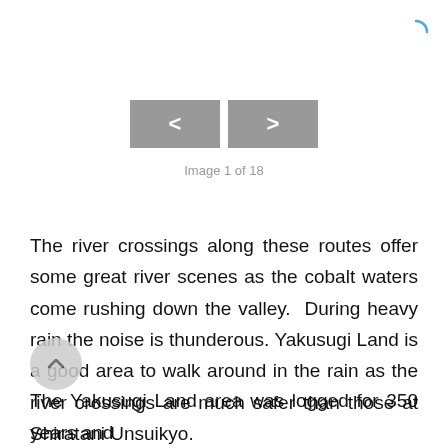[Figure (other): Navigation buttons with left and right chevrons (< and >) for image browsing, rendered as grey rectangles]
Image 1 of 18
The river crossings along these routes offer some great river scenes as the cobalt waters come rushing down the valley.  During heavy rain the noise is thunderous. Yakusugi Land is a good area to walk around in the rain as the river crossings are much safer than those at Shiratani Unsuikyo.
The Yakusugi Land area was logged for 350 years and